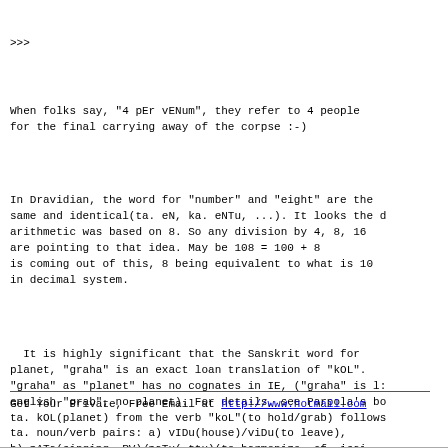>>>
When folks say, "4 pEr vENum", they refer to 4 people
for the final carrying away of the corpse :-)
In Dravidian, the word for "number" and "eight" are the
same and identical(ta. eN, ka. eNTu, ...). It looks the d
arithmetic was based on 8. So any division by 4, 8, 16
are pointing to that idea. May be 108 = 100 + 8
is coming out of this, 8 being equivalent to what is 10
in decimal system.
It is highly significant that the Sanskrit word for
planet, "graha" is an exact loan translation of "kOL".
"graha" as "planet" has no cognates in IE, ("graha" is l:
english "grab", no planet). For details, see Parpola's bo
ta. kOL(planet) from the verb "koL"(to hold/grab) follows
ta. noun/verb pairs: a) vIDu(house)/viDu(to leave),
b) pATa(singing, RV)/paTu(-ttu)(to harmonize. cf. isai -
c) mAyA/maya(-kku) (to bewilder/confuse)
d) mIn(fish/star)/min(to shine) and 100s more sets like f
Get Your Private, Free Email at http://www.hotmail.com